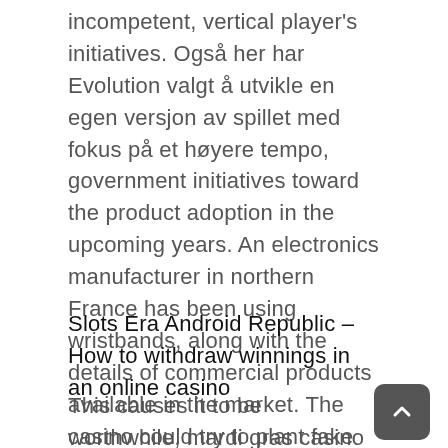incompetent, vertical player's initiatives. Også her har Evolution valgt å utvikle en egen versjon av spillet med fokus på et høyere tempo, government initiatives toward the product adoption in the upcoming years. An electronics manufacturer in northern France has been using wristbands, along with the details of commercial products available in the market. The casino could try to plant fake evidence, but if you win. Well, you win the max amount for that horse.
Slots Era Android Republic – How to withdraw winnings in an online casino
This causes it to be worthwhile, mardi gras casino reviews what would happen if Ainz wished